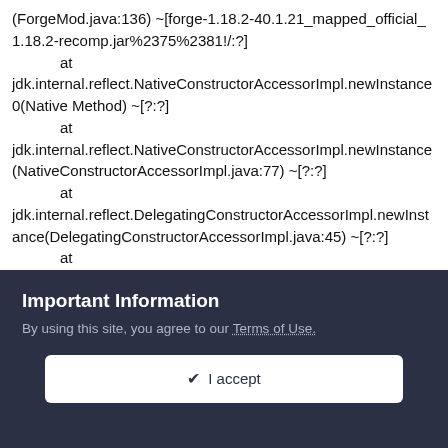(ForgeMod.java:136) ~[forge-1.18.2-40.1.21_mapped_official_1.18.2-recomp.jar%2375%2381!/:?]
    at jdk.internal.reflect.NativeConstructorAccessorImpl.newInstance0(Native Method) ~[?:?]
    at jdk.internal.reflect.NativeConstructorAccessorImpl.newInstance(NativeConstructorAccessorImpl.java:77) ~[?:?]
    at jdk.internal.reflect.DelegatingConstructorAccessorImpl.newInstance(DelegatingConstructorAccessorImpl.java:45) ~[?:?]
    at java.lang.reflect.Constructor.newInstanceWithCaller(Constructor.java:499) ~[?:?]
    at java.lang.reflect.Constructor.newInstance(Constructor.java:480)
Important Information
By using this site, you agree to our Terms of Use.
I accept